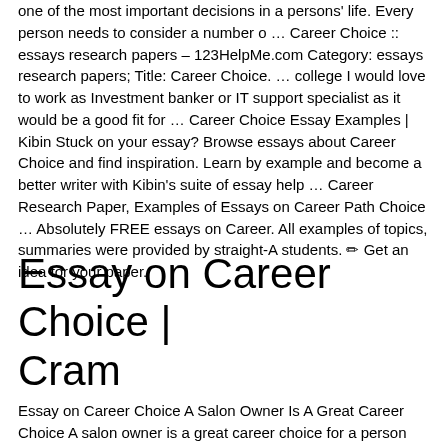one of the most important decisions in a persons' life. Every person needs to consider a number o … Career Choice :: essays research papers – 123HelpMe.com Category: essays research papers; Title: Career Choice. … college I would love to work as Investment banker or IT support specialist as it would be a good fit for … Career Choice Essay Examples | Kibin Stuck on your essay? Browse essays about Career Choice and find inspiration. Learn by example and become a better writer with Kibin's suite of essay help … Career Research Paper, Examples of Essays on Career Path Choice … Absolutely FREE essays on Career. All examples of topics, summaries were provided by straight-A students. ✏ Get an idea for your paper.
Essay on Career Choice | Cram
Essay on Career Choice A Salon Owner Is A Great Career Choice A salon owner is a great career choice for a person